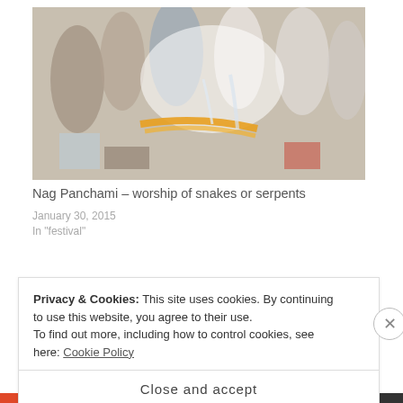[Figure (photo): Group of people performing Nag Panchami ritual, pouring milk over a shrine decorated with marigold flowers outdoors]
Nag Panchami – worship of snakes or serpents
January 30, 2015
In "festival"
[Figure (photo): Partial view of a second article photo showing outdoor scene]
Privacy & Cookies: This site uses cookies. By continuing to use this website, you agree to their use.
To find out more, including how to control cookies, see here: Cookie Policy
Close and accept